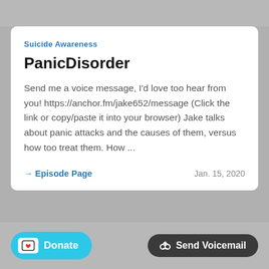Suicide Awareness
PanicDisorder
Send me a voice message, I'd love too hear from you! https://anchor.fm/jake652/message (Click the link or copy/paste it into your browser) Jake talks about panic attacks and the causes of them, versus how too treat them. How ...
→ Episode Page
Jan. 15, 2020